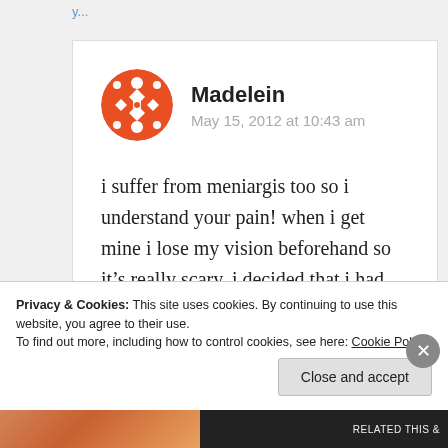i suffer from meniargis too so i understand your pain! when i get mine i lose my vision beforehand so it’s really scary. i decided that i had
Privacy & Cookies: This site uses cookies. By continuing to use this website, you agree to their use.
To find out more, including how to control cookies, see here: Cookie Policy
Close and accept